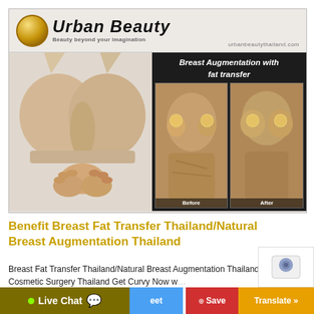[Figure (photo): Urban Beauty Thailand clinic advertisement banner showing a woman in a beige bra on the left and before/after breast augmentation images on the right, with the text 'Breast Augmentation with fat transfer' and the clinic logo and URL urbanbeautythailand.com]
Benefit Breast Fat Transfer Thailand/Natural Breast Augmentation Thailand
Breast Fat Transfer Thailand/Natural Breast Augmentation Thailand – Cosmetic Surgery Thailand Get Curvy Now w…